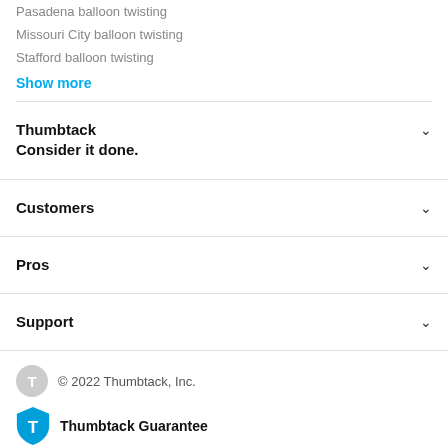Pasadena balloon twisting
Missouri City balloon twisting
Stafford balloon twisting
Show more
Thumbtack
Consider it done.
Customers
Pros
Support
© 2022 Thumbtack, Inc.
Thumbtack Guarantee